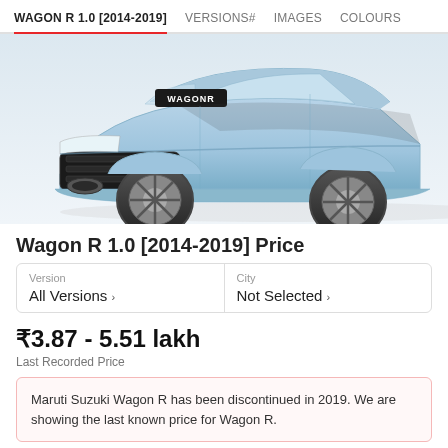WAGON R 1.0 [2014-2019]   VERSIONS#   IMAGES   COLOURS
[Figure (photo): Front-angled view of a light blue Maruti Suzuki Wagon R hatchback car showing the grille, headlights, fog lights, bonnet and wheels against a white background.]
Wagon R 1.0 [2014-2019] Price
| Version | City |
| --- | --- |
| All Versions > | Not Selected > |
₹3.87 - 5.51 lakh
Last Recorded Price
Maruti Suzuki Wagon R has been discontinued in 2019. We are showing the last known price for Wagon R.